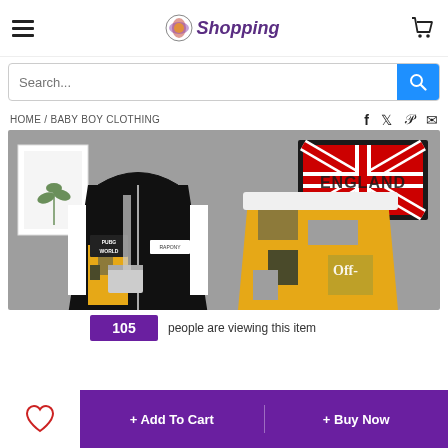GO Shopping
Search...
HOME / BABY BOY CLOTHING
[Figure (photo): Baby boy clothing set with camo hoodie jacket labeled PUBG WORLD and camo pants, displayed on grey fabric background with England flag decoration]
105 people are viewing this item
+ Add To Cart   + Buy Now